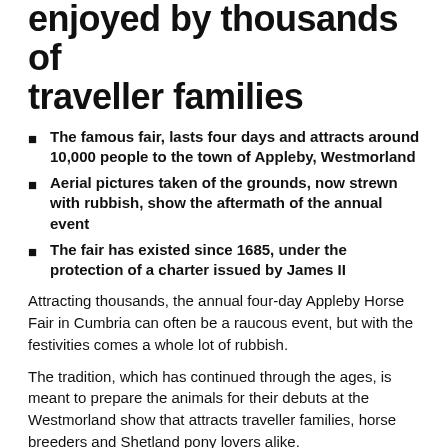enjoyed by thousands of traveller families
The famous fair, lasts four days and attracts around 10,000 people to the town of Appleby, Westmorland
Aerial pictures taken of the grounds, now strewn with rubbish, show the aftermath of the annual event
The fair has existed since 1685, under the protection of a charter issued by James II
Attracting thousands, the annual four-day Appleby Horse Fair in Cumbria can often be a raucous event, but with the festivities comes a whole lot of rubbish.
The tradition, which has continued through the ages, is meant to prepare the animals for their debuts at the Westmorland show that attracts traveller families, horse breeders and Shetland pony lovers alike.